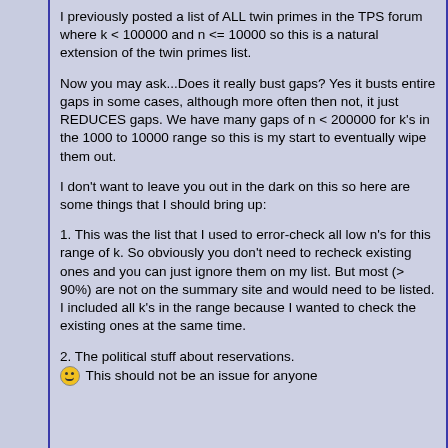I previously posted a list of ALL twin primes in the TPS forum where k < 100000 and n <= 10000 so this is a natural extension of the twin primes list.
Now you may ask...Does it really bust gaps? Yes it busts entire gaps in some cases, although more often then not, it just REDUCES gaps. We have many gaps of n < 200000 for k's in the 1000 to 10000 range so this is my start to eventually wipe them out.
I don't want to leave you out in the dark on this so here are some things that I should bring up:
1. This was the list that I used to error-check all low n's for this range of k. So obviously you don't need to recheck existing ones and you can just ignore them on my list. But most (> 90%) are not on the summary site and would need to be listed. I included all k's in the range because I wanted to check the existing ones at the same time.
2. The political stuff about reservations. This should not be an issue for anyone